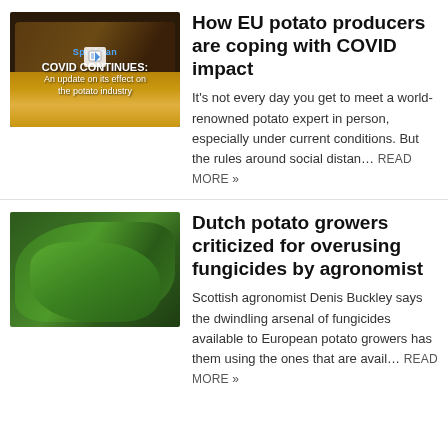[Figure (photo): Photo thumbnail with dark background showing french fries and text overlay: 'COVID CONTINUES: An update on its effect on the potato industry']
How EU potato producers are coping with COVID impact
It's not every day you get to meet a world-renowned potato expert in person, especially under current conditions. But the rules around social distan... READ MORE »
[Figure (photo): Photo thumbnail showing close-up of green tropical leaves with dark veins]
Dutch potato growers criticized for overusing fungicides by agronomist
Scottish agronomist Denis Buckley says the dwindling arsenal of fungicides available to European potato growers has them using the ones that are avail... READ MORE »